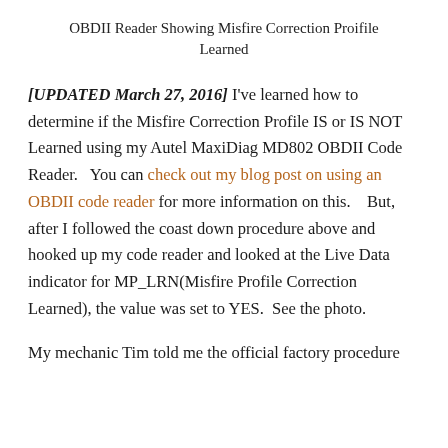OBDII Reader Showing Misfire Correction Proifile Learned
[UPDATED March 27, 2016] I've learned how to determine if the Misfire Correction Profile IS or IS NOT Learned using my Autel MaxiDiag MD802 OBDII Code Reader.   You can check out my blog post on using an OBDII code reader for more information on this.    But, after I followed the coast down procedure above and hooked up my code reader and looked at the Live Data indicator for MP_LRN(Misfire Profile Correction Learned), the value was set to YES.  See the photo.
My mechanic Tim told me the official factory procedure